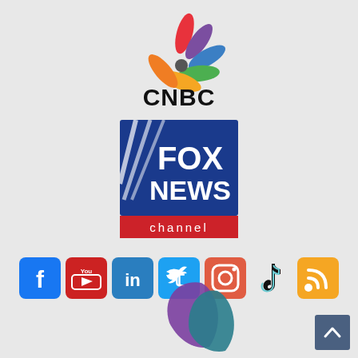[Figure (logo): CNBC logo with colorful peacock feathers above the text CNBC in bold black letters]
[Figure (logo): Fox News Channel logo - blue square with white diagonal lines, FOX NEWS text, and red channel banner]
[Figure (logo): Social media icons row: Facebook, YouTube, LinkedIn, Twitter, Instagram, TikTok, RSS]
[Figure (logo): Partial purple and teal swoosh logo at bottom center, and a dark blue scroll-to-top button at bottom right]